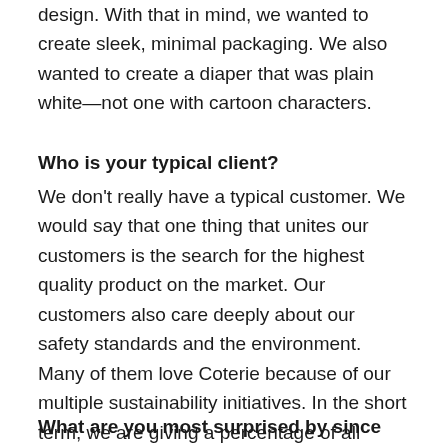design. With that in mind, we wanted to create sleek, minimal packaging. We also wanted to create a diaper that was plain white—not one with cartoon characters.
Who is your typical client?
We don't really have a typical customer. We would say that one thing that unites our customers is the search for the highest quality product on the market. Our customers also care deeply about our safety standards and the environment. Many of them love Coterie because of our multiple sustainability initiatives. In the short term, we are giving a percentage of all diaper sales to NativeEnergy to fund renewable energy initiatives.
What are you most surprised by since the